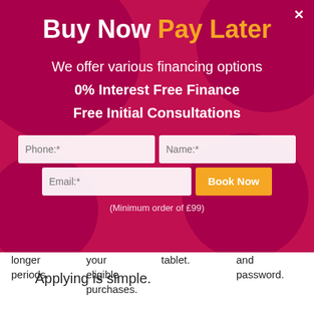Buy Now Pay Later
We offer various financing options
0% Interest Free Finance
Free Initial Consultations
(Minimum order of £99)
longer periods.
your eligible purchases.
tablet.
and password.
Applying is simple.